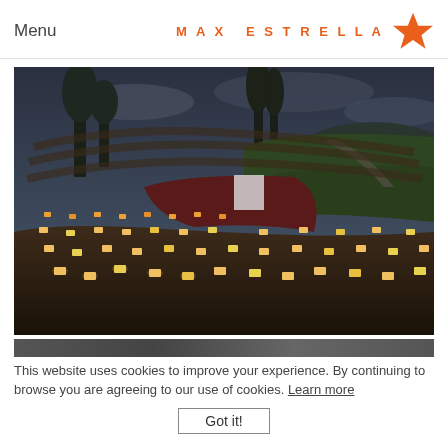Menu
[Figure (logo): MAX ESTRELLA text logo with orange star icon on the right]
[Figure (photo): Aerial/elevated view of an outdoor amphitheater at dusk with rows of candle/lantern lights illuminating the seating area, tall trees in background, overcast sky]
[Figure (photo): Partial view of a second photo, cropped at top]
This website uses cookies to improve your experience. By continuing to browse you are agreeing to our use of cookies. Learn more
Got it!